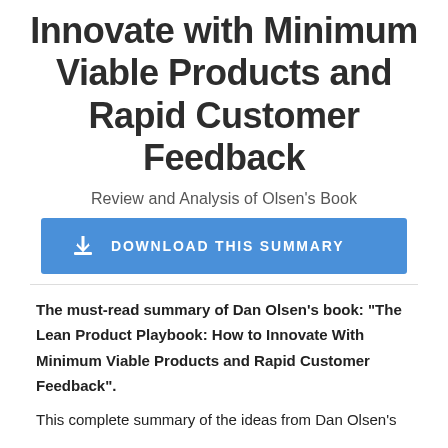Innovate with Minimum Viable Products and Rapid Customer Feedback
Review and Analysis of Olsen's Book
[Figure (other): Blue download button with download icon and text 'DOWNLOAD THIS SUMMARY']
The must-read summary of Dan Olsen's book: “The Lean Product Playbook: How to Innovate With Minimum Viable Products and Rapid Customer Feedback”.
This complete summary of the ideas from Dan Olsen's